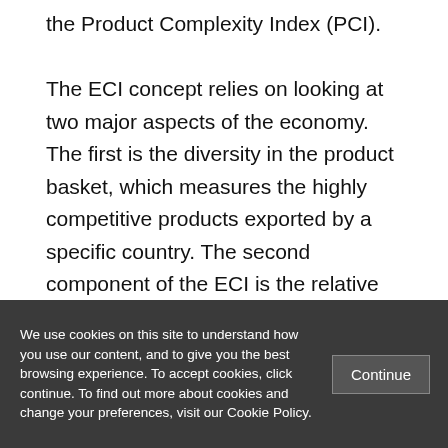the Product Complexity Index (PCI). The ECI concept relies on looking at two major aspects of the economy. The first is the diversity in the product basket, which measures the highly competitive products exported by a specific country. The second component of the ECI is the relative abundance of a particular product in the product basket, which is reflected by the
We use cookies on this site to understand how you use our content, and to give you the best browsing experience. To accept cookies, click continue. To find out more about cookies and change your preferences, visit our Cookie Policy.